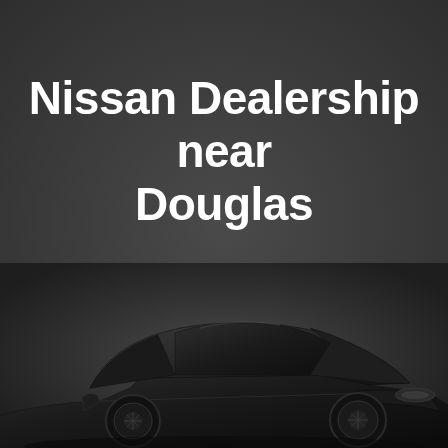Nissan Dealership near Douglas
Try out our nissa models at our Dealership near Douglas
[Figure (photo): A dark/black Nissan sedan car photographed from the front-left angle against a dark background, showing the lower portion of the vehicle.]